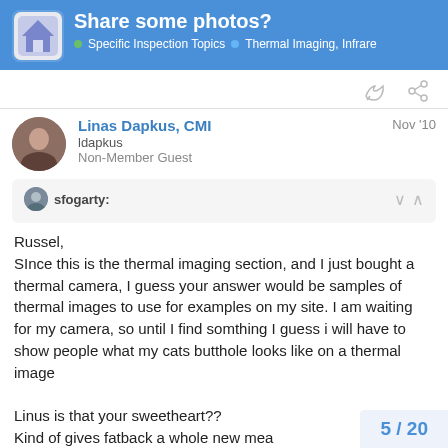Share some photos? — Specific Inspection Topics · Thermal Imaging, Infrare
Linas Dapkus, CMI — ldapkus — Non-Member Guest — Nov '10
sfogarty: Russel, SInce this is the thermal imaging section, and I just bought a thermal camera, I guess your answer would be samples of thermal images to use for examples on my site. I am waiting for my camera, so until I find somthing I guess i will have to show people what my cats butthole looks like on a thermal image

Linus is that your sweetheart??
Kind of gives fatback a whole new mea
5 / 20